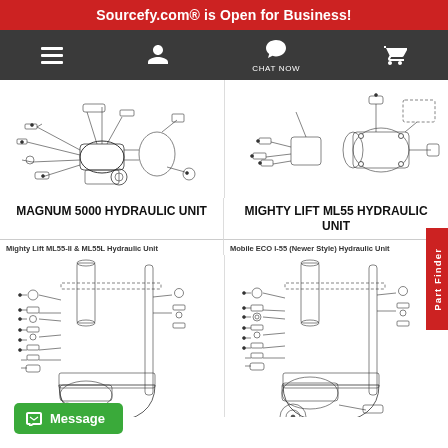Sourcefy.com® is Open for Business!
[Figure (screenshot): Navigation bar with hamburger menu, user icon, chat now button, and shopping cart icon on dark background]
[Figure (engineering-diagram): Magnum 5000 Hydraulic Unit exploded parts diagram]
MAGNUM 5000 HYDRAULIC UNIT
[Figure (engineering-diagram): Mighty Lift ML55 Hydraulic Unit exploded parts diagram]
MIGHTY LIFT ML55 HYDRAULIC UNIT
Mighty Lift ML55-II & ML55L Hydraulic Unit
[Figure (engineering-diagram): Mighty Lift ML55-II & ML55L Hydraulic Unit exploded parts diagram]
Mobile ECO I-55 (Newer Style) Hydraulic Unit
[Figure (engineering-diagram): Mobile ECO I-55 (Newer Style) Hydraulic Unit exploded parts diagram]